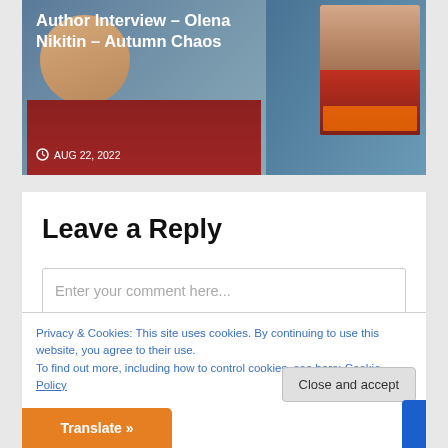[Figure (photo): Screenshot of a blog post card showing Author Interview – Olena Nikitin – Autumn Chaos with a book cover image on the right and a date of AUG 22, 2022]
Leave a Reply
Enter your comment here...
Privacy & Cookies: This site uses cookies. By continuing to use this website, you agree to their use.
To find out more, including how to control cookies, see here: Cookie Policy
Close and accept
Translate »